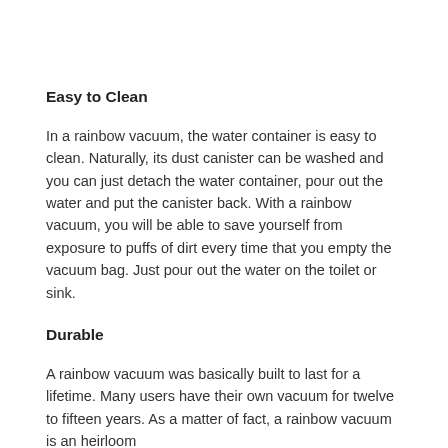Easy to Clean
In a rainbow vacuum, the water container is easy to clean. Naturally, its dust canister can be washed and you can just detach the water container, pour out the water and put the canister back. With a rainbow vacuum, you will be able to save yourself from exposure to puffs of dirt every time that you empty the vacuum bag. Just pour out the water on the toilet or sink.
Durable
A rainbow vacuum was basically built to last for a lifetime. Many users have their own vacuum for twelve to fifteen years. As a matter of fact, a rainbow vacuum is an heirloom